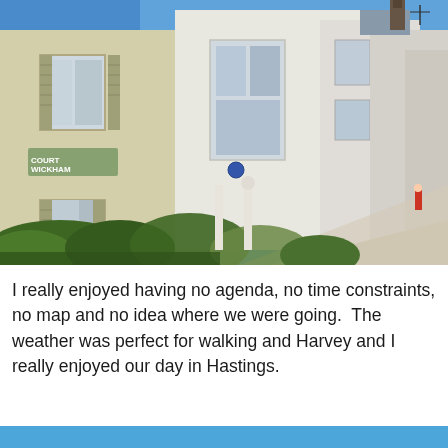[Figure (photo): Street-level photograph of a row of white/cream Georgian terraced houses with sash windows, shutters, hedges and gardens in the foreground, taken on a clear bright blue-sky day. A sloping pavement runs to the right. The leftmost building has a green street sign. Location is Hastings, England.]
I really enjoyed having no agenda, no time constraints, no map and no idea where we were going.  The weather was perfect for walking and Harvey and I really enjoyed our day in Hastings.